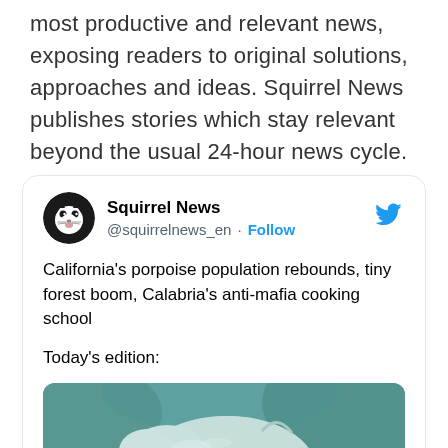most productive and relevant news, exposing readers to original solutions, approaches and ideas. Squirrel News publishes stories which stay relevant beyond the usual 24-hour news cycle.
[Figure (screenshot): Tweet card from @squirrelnews_en showing Squirrel News account with avatar, Follow button, tweet text about California porpoise population, and a photo of a porpoise underwater]